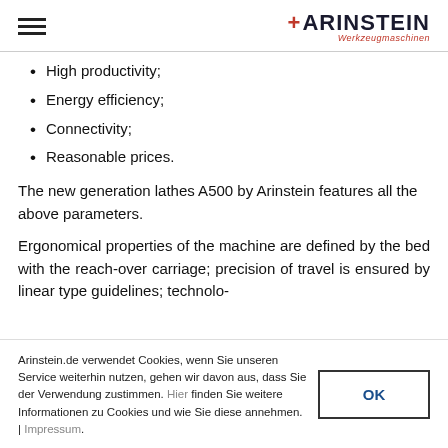ARINSTEIN Werkzeugmaschinen
High productivity;
Energy efficiency;
Connectivity;
Reasonable prices.
The new generation lathes A500 by Arinstein features all the above parameters.
Ergonomical properties of the machine are defined by the bed with the reach-over carriage; precision of travel is ensured by linear type guidelines; technolo-
Arinstein.de verwendet Cookies, wenn Sie unseren Service weiterhin nutzen, gehen wir davon aus, dass Sie der Verwendung zustimmen. Hier finden Sie weitere Informationen zu Cookies und wie Sie diese annehmen. | Impressum.